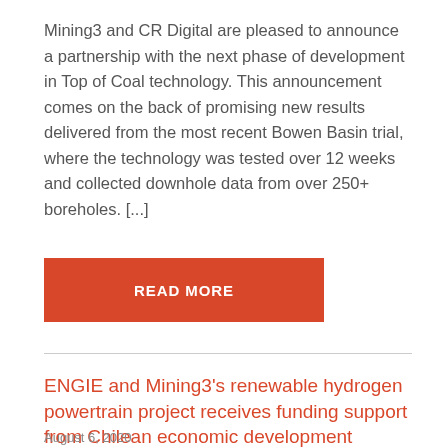Mining3 and CR Digital are pleased to announce a partnership with the next phase of development in Top of Coal technology. This announcement comes on the back of promising new results delivered from the most recent Bowen Basin trial, where the technology was tested over 12 weeks and collected downhole data from over 250+ boreholes. [...]
READ MORE
ENGIE and Mining3's renewable hydrogen powertrain project receives funding support from Chilean economic development agency
August 6, 2020